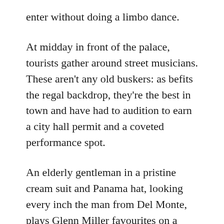enter without doing a limbo dance.
At midday in front of the palace, tourists gather around street musicians. These aren't any old buskers: as befits the regal backdrop, they're the best in town and have had to audition to earn a city hall permit and a coveted performance spot.
An elderly gentleman in a pristine cream suit and Panama hat, looking every inch the man from Del Monte, plays Glenn Miller favourites on a clarinet. When he follows Moonlight Serenade with Little Brown Jug, a middle-aged American couple can't contain themselves and start dancing like professionals.